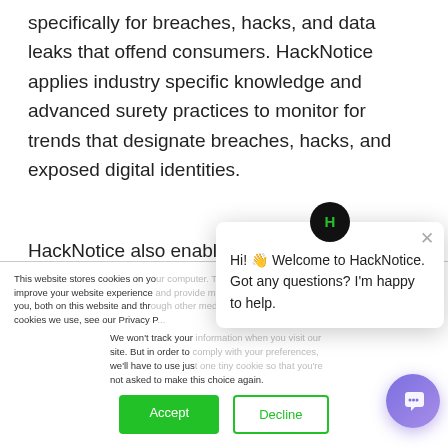specifically for breaches, hacks, and data leaks that offend consumers. HackNotice applies industry specific knowledge and advanced surety practices to monitor for trends that designate breaches, hacks, and exposed digital identities.
HackNotice also enables clients to share cut notices with their friend, family, and collogues to aid increase
This website stores cookies on your computer. These cookies are used to improve your website experience and provide more personalized services to you, both on this website and through other media. To find out more about the cookies we use, see our Privacy P...
We won't track your information when you visit our site. But in order to comply with your preferences, we'll have to use just one tiny cookie so that you're not asked to make this choice again.
Accept
Decline
[Figure (screenshot): Chat widget popup with HackNotice logo (dark circle with green H). Message reads: Hi! Welcome to HackNotice. Got any questions? I'm happy to help. Close button (X) in top right.]